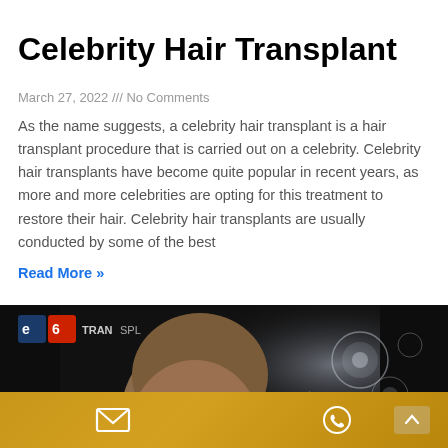Celebrity Hair Transplant
March 27, 2022 /// No Comments
As the name suggests, a celebrity hair transplant is a hair transplant procedure that is carried out on a celebrity. Celebrity hair transplants have become quite popular in recent years, as more and more celebrities are opting for this treatment to restore their hair. Celebrity hair transplants are usually conducted by some of the best
Read More »
[Figure (photo): A bald man wearing glasses, holding his hand near his ear, in a dark dramatic setting with a logo reading 'TRANSPLANT' partially visible in the upper left corner.]